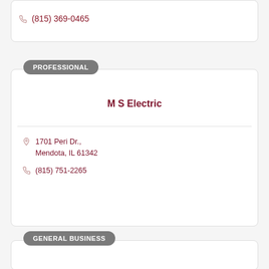(815) 369-0465
PROFESSIONAL
M S Electric
1701 Peri Dr., Mendota, IL 61342
(815) 751-2265
GENERAL BUSINESS